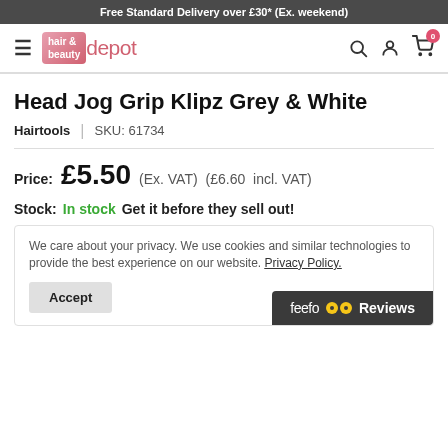Free Standard Delivery over £30* (Ex. weekend)
[Figure (logo): Hair & Beauty Depot logo with navigation icons]
Head Jog Grip Klipz Grey & White
Hairtools  |  SKU: 61734
Price: £5.50 (Ex. VAT) (£6.60 incl. VAT)
Stock: In stock  Get it before they sell out!
We care about your privacy. We use cookies and similar technologies to provide the best experience on our website. Privacy Policy.
Accept
[Figure (logo): Feefo Reviews bar]